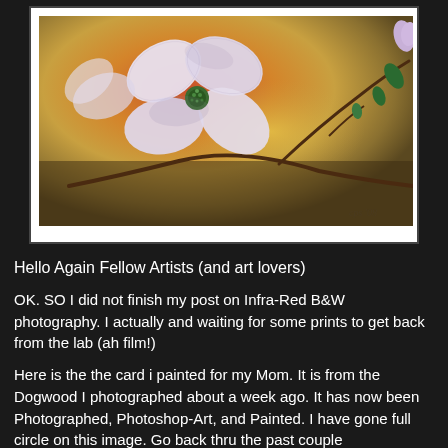[Figure (illustration): A painting of white dogwood flowers on a branch with leaves and buds, against a warm orange and golden-brown background. Signed 'cps '08' in the lower right corner.]
Hello Again Fellow Artists (and art lovers)
OK. SO I did not finish my post on Infra-Red B&W photography. I actually and waiting for some prints to get back from the lab (ah film!)
Here is the the card i painted for my Mom. It is from the Dogwood I photographed about a week ago. It has now been Photographed, Photoshop-Art, and Painted. I have gone full circle on this image. Go back thru the past couple